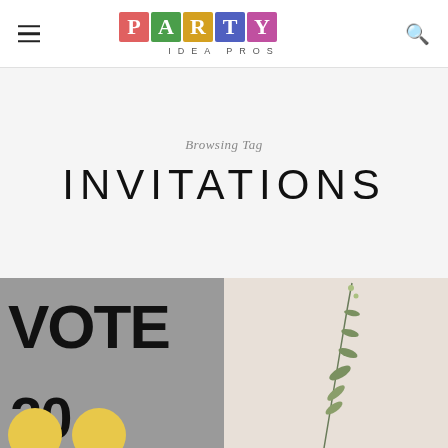Party Idea Pros
Browsing Tag
INVITATIONS
[Figure (photo): Split image showing left half: grey background with bold black text 'VOTE' and yellow circles at the bottom; right half: light beige background with a plant/twig illustration]